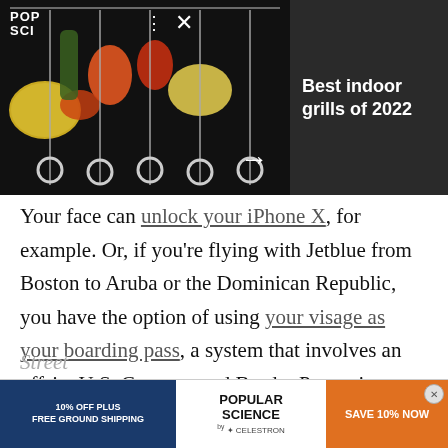[Figure (photo): Dark background notification/ad card showing food skewers (shrimp, vegetables, lemon wedges) with POP SCI logo, three-dot menu, X close button, right arrow, and text 'Best indoor grills of 2022' on dark panel]
Your face can unlock your iPhone X, for example. Or, if you're flying with Jetblue from Boston to Aruba or the Dominican Republic, you have the option of using your visage as your boarding pass, a system that involves an offsite U.S. Customs and Border Protection algorithm making the matches. And now, the tech—featuring a camera attached to sunglasses— is being used by police officers in crowds in China, The Wall Street
[Figure (infographic): Bottom advertisement banner for Popular Science / Celestron: left dark blue section with '10% OFF PLUS FREE GROUND SHIPPING', center white section with 'POPULAR SCIENCE by CELESTRON' logo, right orange section with 'SAVE 10% NOW'. Also circular X close button.]